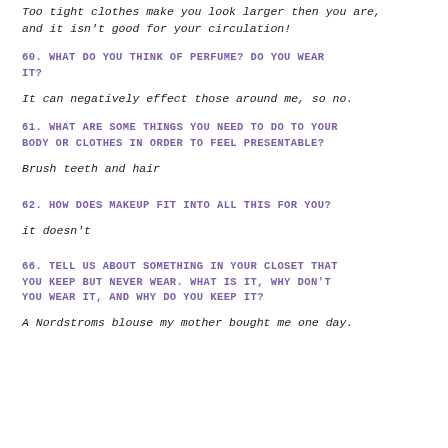Too tight clothes make you look larger then you are, and it isn't good for your circulation!
60. WHAT DO YOU THINK OF PERFUME? DO YOU WEAR IT?
It can negatively effect those around me, so no.
61. WHAT ARE SOME THINGS YOU NEED TO DO TO YOUR BODY OR CLOTHES IN ORDER TO FEEL PRESENTABLE?
Brush teeth and hair
62. HOW DOES MAKEUP FIT INTO ALL THIS FOR YOU?
it doesn't
66. TELL US ABOUT SOMETHING IN YOUR CLOSET THAT YOU KEEP BUT NEVER WEAR. WHAT IS IT, WHY DON'T YOU WEAR IT, AND WHY DO YOU KEEP IT?
A Nordstroms blouse my mother bought me one day.